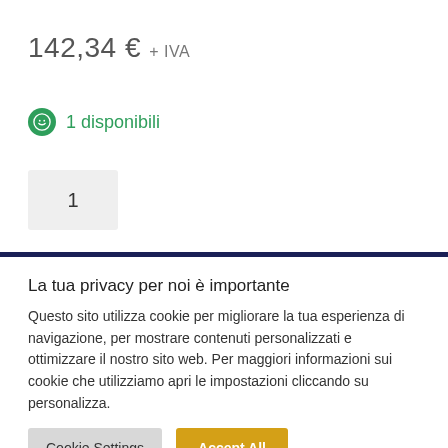142,34 € + IVA
1 disponibili
1
La tua privacy per noi è importante
Questo sito utilizza cookie per migliorare la tua esperienza di navigazione, per mostrare contenuti personalizzati e ottimizzare il nostro sito web. Per maggiori informazioni sui cookie che utilizziamo apri le impostazioni cliccando su personalizza.
Cookie Settings
Accept All